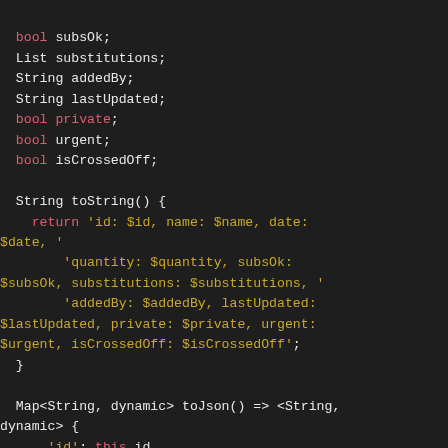[Figure (screenshot): Dark-themed code editor screenshot showing Dart/Flutter class code with fields (bool subsOk, List substitutions, String addedBy, String lastUpdated, bool private, bool urgent, bool isCrossedOff), a toString() method returning an interpolated string, and the beginning of a toJson() method with map entries for id, name, date, quantity, subsOk fields using 'this' keyword.]